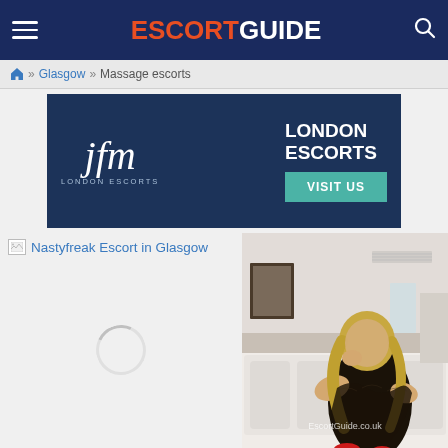ESCORT GUIDE
Home » Glasgow » Massage escorts
[Figure (advertisement): JFM London Escorts advertisement banner with 'LONDON ESCORTS' text and 'VISIT US' button]
[Figure (photo): Nastyfreak Escort in Glasgow - broken image placeholder on left, photo of blonde woman in black lace outfit on right with EscortGuide.co.uk watermark]